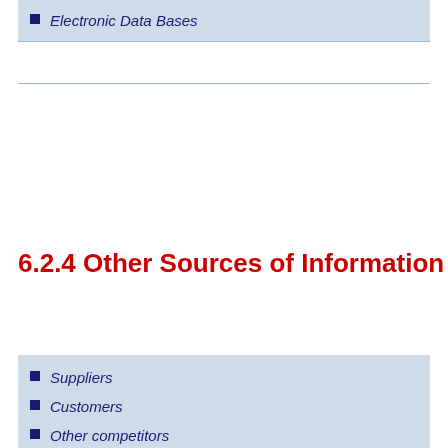Electronic Data Bases
6.2.4 Other Sources of Information
Suppliers
Customers
Other competitors